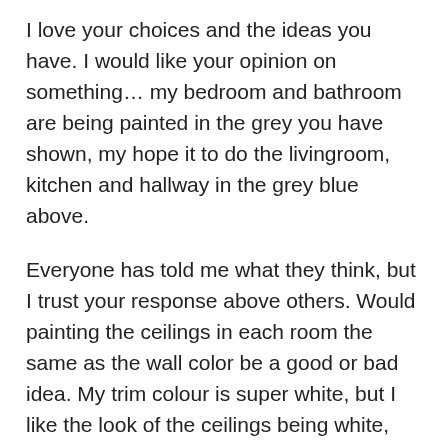I love your choices and the ideas you have. I would like your opinion on something… my bedroom and bathroom are being painted in the grey you have shown, my hope it to do the livingroom, kitchen and hallway in the grey blue above.
Everyone has told me what they think, but I trust your response above others. Would painting the ceilings in each room the same as the wall color be a good or bad idea. My trim colour is super white, but I like the look of the ceilings being white, but I feel more drawn to the look of the walls and ceiling being the same color! I'm in a 1 bedroom apartment where you can see every room from pretty much anywhere you stand and